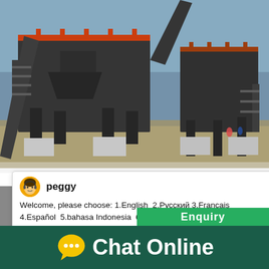[Figure (photo): Large industrial mobile crushing and screening plant with black metal framework, conveyor belts, and orange/red railings. Workers visible near right side. Set in an open field under blue sky.]
[Figure (screenshot): Chat popup with avatar of customer service agent named 'peggy', showing welcome message in multiple languages, and an X close button.]
Welcome, please choose: 1.English  2.Русский 3.Français 4.Español  5.bahasa Indonesia  6.عربي
2021-3-1    Sandvik Mobile Crushing and Sc... within Sandvik's newly formed business area... olutions, has appointed Ferronordic its distrib... ssia for mobile crushers and screens. The pro... des a full range of mobile jaw crushers, cone...
[Figure (screenshot): Chat widget on the right side showing a teal/blue background with a grey ball graphic, decorative elements including red and green bars, a badge showing '1', and a 'Click me to chat >>' button. Below is a green 'Enquiry' button.]
[Figure (screenshot): Bottom bar with dark green background showing a yellow speech bubble chat icon and white bold text 'Chat Online'.]